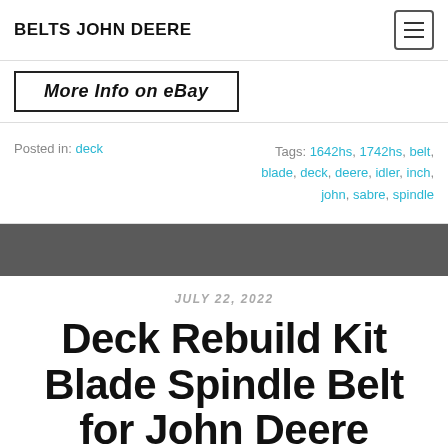BELTS JOHN DEERE
[Figure (other): More info on eBay button]
Posted in: deck    Tags: 1642hs, 1742hs, belt, blade, deck, deere, idler, inch, john, sabre, spindle
JULY 22, 2022
Deck Rebuild Kit Blade Spindle Belt for John Deere